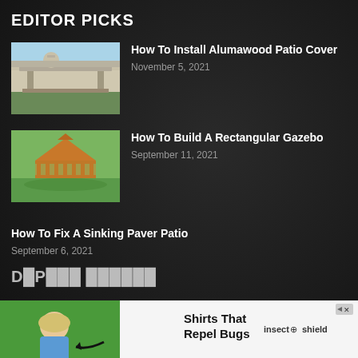EDITOR PICKS
How To Install Alumawood Patio Cover
November 5, 2021
How To Build A Rectangular Gazebo
September 11, 2021
How To Fix A Sinking Paver Patio
September 6, 2021
[Figure (photo): Advertisement banner: woman in blue shirt with arrow pointing at her, text 'Shirts That Repel Bugs', Insect Shield brand logo]
Shirts That Repel Bugs  insect shield